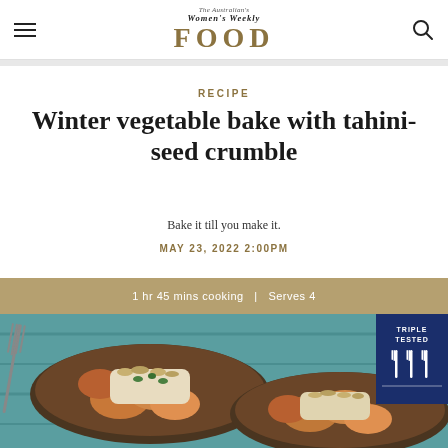The Australian Women's Weekly FOOD
RECIPE
Winter vegetable bake with tahini-seed crumble
Bake it till you make it.
MAY 23, 2022 2:00PM
1 hr 45 mins cooking  |  Serves 4
[Figure (photo): Winter vegetable bake dish with tahini-seed crumble served in a pan on a teal wooden surface, with a fork on the left and a Triple Tested badge in the top right corner]